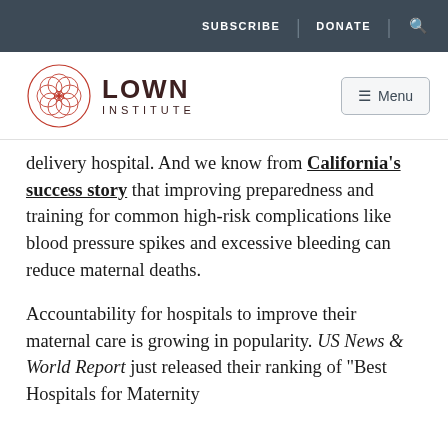SUBSCRIBE | DONATE | [search icon]
[Figure (logo): Lown Institute logo with red geometric circular pattern and text LOWN INSTITUTE]
delivery hospital. And we know from California's success story that improving preparedness and training for common high-risk complications like blood pressure spikes and excessive bleeding can reduce maternal deaths.
Accountability for hospitals to improve their maternal care is growing in popularity. US News & World Report just released their ranking of "Best Hospitals for Maternity"